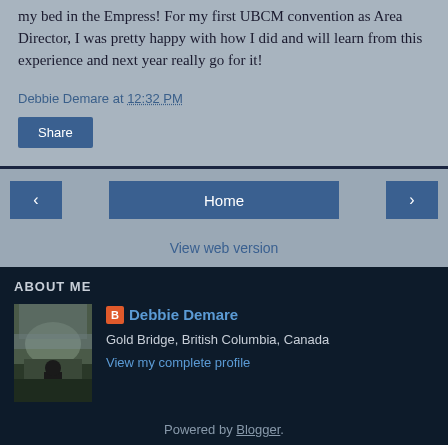my bed in the Empress! For my first UBCM convention as Area Director, I was pretty happy with how I did and will learn from this experience and next year really go for it!
Debbie Demare at 12:32 PM
Share
Home
View web version
ABOUT ME
[Figure (photo): Profile photo of a person outdoors in a mountainous/forested landscape]
Debbie Demare
Gold Bridge, British Columbia, Canada
View my complete profile
Powered by Blogger.